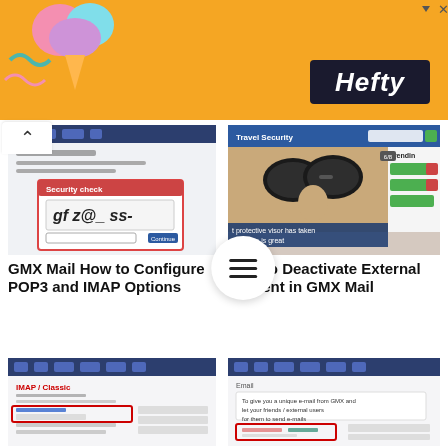[Figure (screenshot): Orange Hefty advertisement banner with ice cream decorations and Hefty logo]
[Figure (screenshot): Screenshot of GMX Mail POP3/IMAP configuration page with CAPTCHA dialog]
GMX Mail How to Configure POP3 and IMAP Options
[Figure (screenshot): Screenshot of a news website showing a woman wearing sunglasses with text 'protective visor has taken The idea is great' and Trending section]
How to Deactivate External Content in GMX Mail
[Figure (screenshot): Screenshot of GMX Mail interface showing email settings]
[Figure (screenshot): Screenshot of GMX Mail interface showing external content settings]